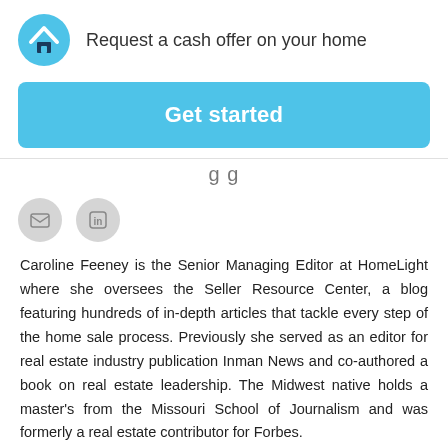[Figure (logo): HomeLight logo - blue circle with white roof/chevron icon and house symbol]
Request a cash offer on your home
[Figure (other): Get started button - blue rounded rectangle with white bold text]
Caroline Feeney is the Senior Managing Editor at HomeLight where she oversees the Seller Resource Center, a blog featuring hundreds of in-depth articles that tackle every step of the home sale process. Previously she served as an editor for real estate industry publication Inman News and co-authored a book on real estate leadership. The Midwest native holds a master's from the Missouri School of Journalism and was formerly a real estate contributor for Forbes.